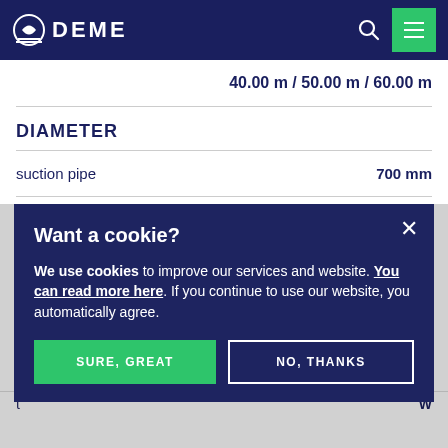DEME
40.00 m / 50.00 m / 60.00 m
DIAMETER
suction pipe  700 mm
Want a cookie?  We use cookies to improve our services and website. You can read more here. If you continue to use our website, you automatically agree.